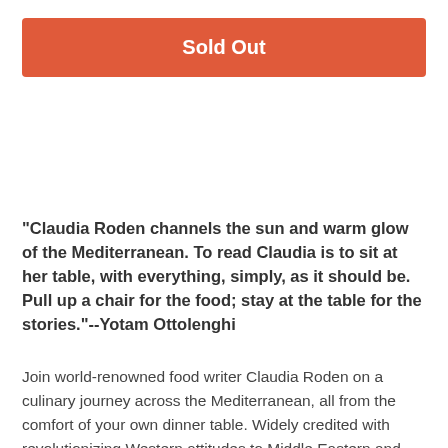Sold Out
"Claudia Roden channels the sun and warm glow of the Mediterranean. To read Claudia is to sit at her table, with everything, simply, as it should be. Pull up a chair for the food; stay at the table for the stories."--Yotam Ottolenghi
Join world-renowned food writer Claudia Roden on a culinary journey across the Mediterranean, all from the comfort of your own dinner table. Widely credited with revolutionizing Western attitudes to Middle Eastern and Mediterranean food, Claudia is a living legend. Though best known for her deep dives into cuisines, in this timeless collection of simple, beautiful recipes